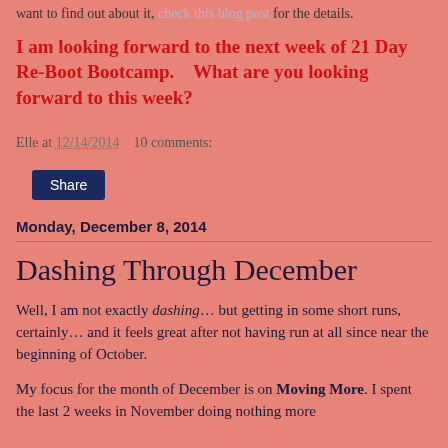want to find out about it, check this blog post for the details.
I am looking forward to the next week of 21 Day Re-Boot Bootcamp.   What are you looking forward to this week?
Elle at 12/14/2014    10 comments:
Share
Monday, December 8, 2014
Dashing Through December
Well, I am not exactly dashing… but getting in some short runs, certainly… and it feels great after not having run at all since near the beginning of October.
My focus for the month of December is on Moving More. I spent the last 2 weeks in November doing nothing more